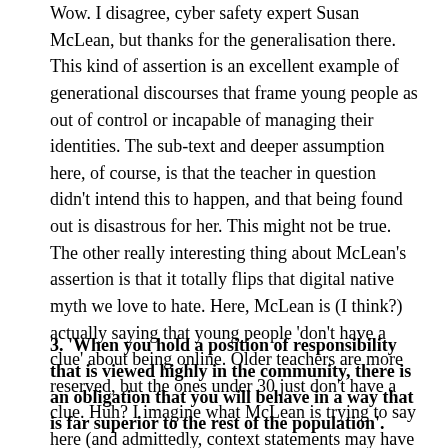Wow. I disagree, cyber safety expert Susan McLean, but thanks for the generalisation there. This kind of assertion is an excellent example of generational discourses that frame young people as out of control or incapable of managing their identities. The sub-text and deeper assumption here, of course, is that the teacher in question didn't intend this to happen, and that being found out is disastrous for her. This might not be true. The other really interesting thing about McLean's assertion is that it totally flips that digital native myth we love to hate. Here, McLean is (I think?) actually saying that young people 'don't have a clue' about being online. Older teachers are more reserved, but the ones under 30 just don't have a clue. Huh? I imagine what McLean is trying to say here (and admittedly, context statements may have not have been included in the article) is that young teachers need to learn what is appropriate in a 'public' space (where, in this case, a public Twitter profile with ~1000 followers = public). This is true not just for young high school teachers, but probably all educators and indeed anyone who wants to have a presence on the social web. This is the broader discussion we're having here, and we have to come to terms with the reality that there are no simple answers. We are still figuring this out.
3. 'When you hold a position of responsibility that is viewed highly in the community, there is an obligation that you will behave in a way that is far superior to the rest of the population'.